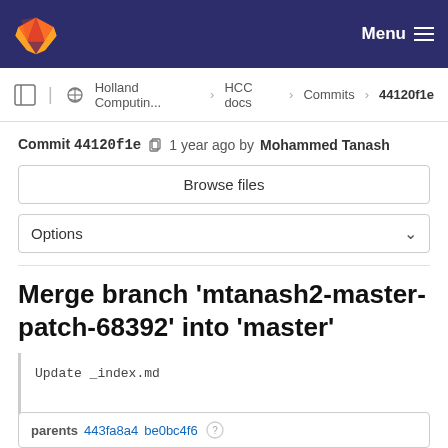GitLab — Menu
Holland Computin... › HCC docs › Commits › 44120f1e
Commit 44120f1e  1 year ago by Mohammed Tanash
Browse files
Options
Merge branch 'mtanash2-master-patch-68392' into 'master'
Update _index.md

See merge request !268
parents 443fa8a4 be0bc4f6